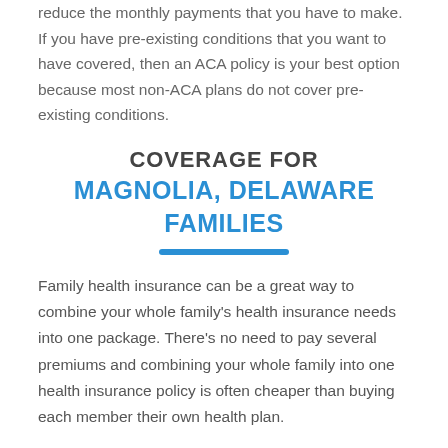reduce the monthly payments that you have to make. If you have pre-existing conditions that you want to have covered, then an ACA policy is your best option because most non-ACA plans do not cover pre-existing conditions.
COVERAGE FOR MAGNOLIA, DELAWARE FAMILIES
Family health insurance can be a great way to combine your whole family's health insurance needs into one package. There's no need to pay several premiums and combining your whole family into one health insurance policy is often cheaper than buying each member their own health plan.